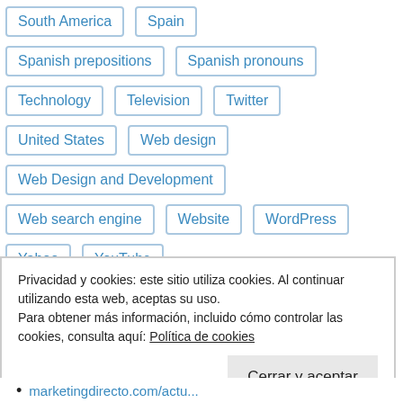South America
Spain
Spanish prepositions
Spanish pronouns
Technology
Television
Twitter
United States
Web design
Web Design and Development
Web search engine
Website
WordPress
Yahoo
YouTube
Privacidad y cookies: este sitio utiliza cookies. Al continuar utilizando esta web, aceptas su uso. Para obtener más información, incluido cómo controlar las cookies, consulta aquí: Política de cookies
Cerrar y aceptar
marketingdirecto.com/actu...